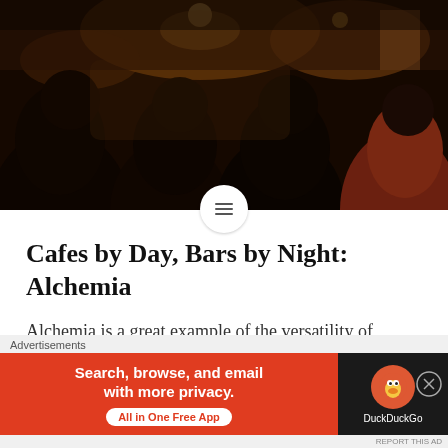[Figure (photo): Dark, warm-toned photograph of a crowded cafe or bar interior at night, showing people seated with backs to camera, ambient warm lighting from ceiling fixtures, brick and wood decor visible.]
Cafes by Day, Bars by Night: Alchemia
Alchemia is a great example of the versatility of Krakow's cafes.  Open practically 24 hours, you can stop by in the morning for breakfast, the afternoon for a quick pick-me-up...
[Figure (screenshot): DuckDuckGo advertisement banner: orange/red background on left with text 'Search, browse, and email with more privacy. All in One Free App' and DuckDuckGo logo on dark right panel.]